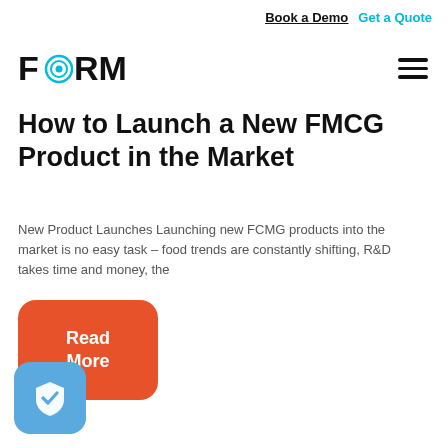Book a Demo  Get a Quote
[Figure (logo): FORM logo with circular teal icon replacing the letter O]
[Figure (other): Hamburger menu icon (three horizontal lines)]
How to Launch a New FMCG Product in the Market
New Product Launches Launching new FCMG products into the market is no easy task – food trends are constantly shifting, R&D takes time and money, the
[Figure (other): Orange rounded rectangle button with white bold text reading 'Read More']
[Figure (other): Blue rounded square icon with a white checkmark shield symbol]